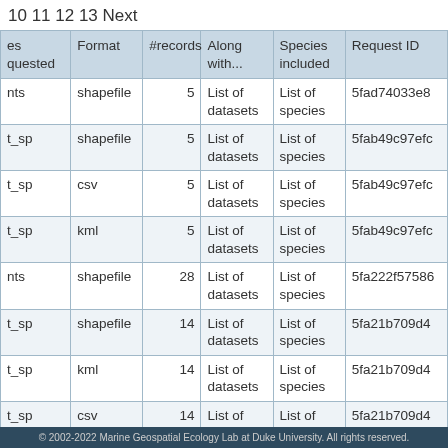10 11 12 13 Next
| es quested | Format | #records | Along with... | Species included | Request ID |
| --- | --- | --- | --- | --- | --- |
| nts | shapefile | 5 | List of datasets | List of species | 5fad74033e8... |
| t_sp | shapefile | 5 | List of datasets | List of species | 5fab49c97efc... |
| t_sp | csv | 5 | List of datasets | List of species | 5fab49c97efc... |
| t_sp | kml | 5 | List of datasets | List of species | 5fab49c97efc... |
| nts | shapefile | 28 | List of datasets | List of species | 5fa222f57586... |
| t_sp | shapefile | 14 | List of datasets | List of species | 5fa21b709d4... |
| t_sp | kml | 14 | List of datasets | List of species | 5fa21b709d4... |
| t_sp | csv | 14 | List of datasets | List of species | 5fa21b709d4... |
© 2002-2022 Marine Geospatial Ecology Lab at Duke University. All rights reserved.